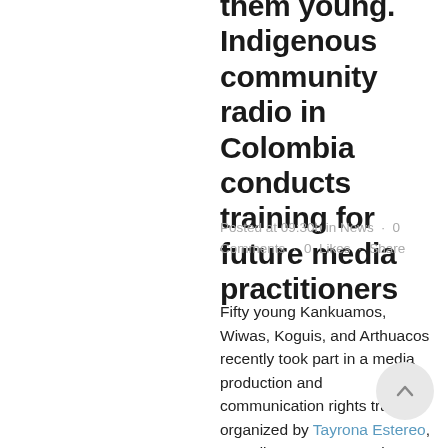them young. Indigenous community radio in Colombia conducts training for future media practitioners
Posted at 09:30h in News · 0 Comments · 0 Likes · Share
Fifty young Kankuamos, Wiwas, Koguis, and Arthuacos recently took part in a media production and communication rights training organized by Tayrona Estereo, an Indigenous community radio station in Colombia....